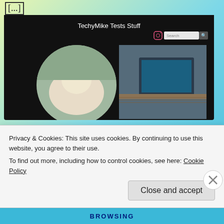[...]
[Figure (screenshot): Screenshot of a WordPress blog called 'TechyMike Tests Stuff' showing a header with site name, search bar, and a photo of a white dog on a wooden deck with a laptop.]
Learning WordPress Full Site Editing (FSE)
February 2, 2022
Full Site Editing is going to change how I use themes on WordPress, and, it will allow me to return [...]
Privacy & Cookies: This site uses cookies. By continuing to use this website, you agree to their use.
To find out more, including how to control cookies, see here: Cookie Policy
Close and accept
BROWSING